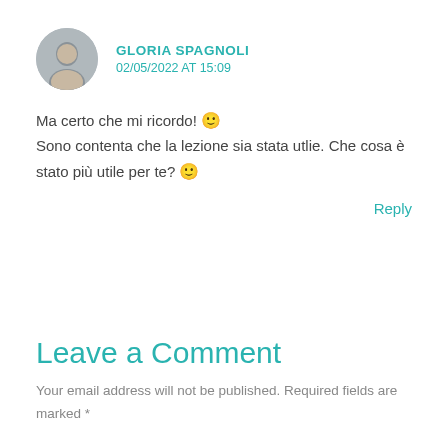GLORIA SPAGNOLI
02/05/2022 AT 15:09
Ma certo che mi ricordo! 🙂
Sono contenta che la lezione sia stata utlie. Che cosa è stato più utile per te? 🙂
Reply
Leave a Comment
Your email address will not be published. Required fields are marked *